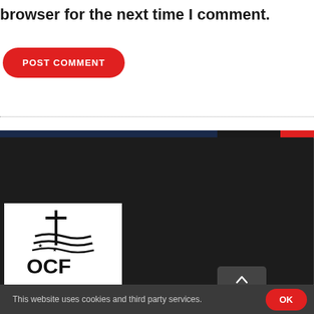browser for the next time I comment.
POST COMMENT
[Figure (logo): OCF logo with cross and flag design on white background]
This website uses cookies and third party services.
OK